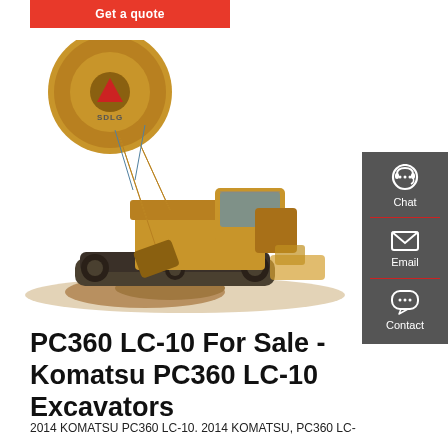[Figure (other): Red 'Get a quote' button at top left]
[Figure (photo): Large yellow Komatsu PC360 LC-10 excavator with SDLG logo disc attachment, digging into rocks on a white background]
[Figure (other): Dark gray right sidebar with Chat (headset icon), Email (envelope icon), and Contact (speech bubble icon) UI elements separated by red dividers]
PC360 LC-10 For Sale - Komatsu PC360 LC-10 Excavators
2014 KOMATSU PC360 LC-10. 2014 KOMATSU, PC360 LC-